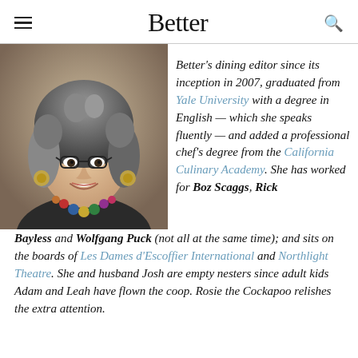Better
[Figure (photo): Headshot of a smiling woman with curly gray hair, glasses, and colorful beaded necklace and earrings.]
Better's dining editor since its inception in 2007, graduated from Yale University with a degree in English — which she speaks fluently — and added a professional chef's degree from the California Culinary Academy. She has worked for Boz Scaggs, Rick Bayless and Wolfgang Puck (not all at the same time); and sits on the boards of Les Dames d'Escoffier International and Northlight Theatre. She and husband Josh are empty nesters since adult kids Adam and Leah have flown the coop. Rosie the Cockapoo relishes the extra attention.